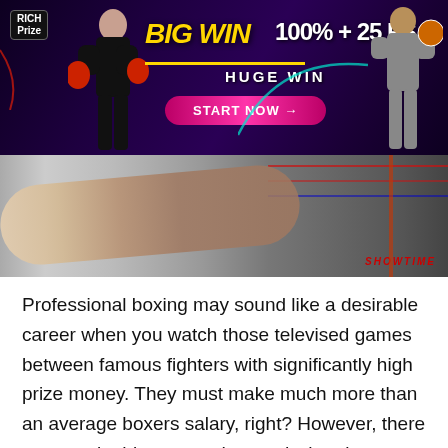[Figure (photo): RichPrize casino advertisement banner with text 'BIG WIN 100% + 25 FS HUGE WIN' and 'START NOW' button, featuring two female figures and purple/dark background]
[Figure (photo): Boxing match photo showing a boxer knocked down in the ring, with Showtime logo visible in bottom right corner]
Professional boxing may sound like a desirable career when you watch those televised games between famous fighters with significantly high prize money. They must make much more than an average boxers salary, right? However, there are certain things to understand when it comes to a boxing 'purse'. A purse in boxing refers to the amount that is negotiated by a